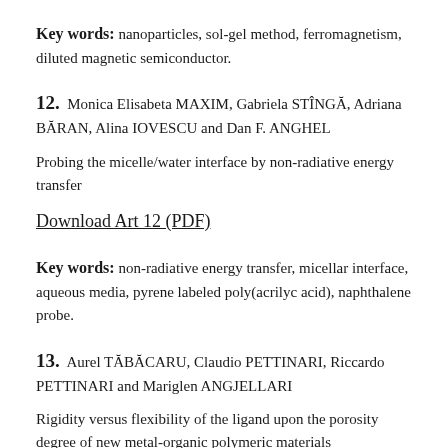Key words: nanoparticles, sol-gel method, ferromagnetism, diluted magnetic semiconductor.
12. Monica Elisabeta MAXIM, Gabriela STÎNGĂ, Adriana BĂRAN, Alina IOVESCU and Dan F. ANGHEL
Probing the micelle/water interface by non-radiative energy transfer
Download Art 12 (PDF)
Key words: non-radiative energy transfer, micellar interface, aqueous media, pyrene labeled poly(acrilyc acid), naphthalene probe.
13. Aurel TĂBĂCARU, Claudio PETTINARI, Riccardo PETTINARI and Mariglen ANGJELLARI
Rigidity versus flexibility of the ligand upon the porosity degree of new metal-organic polymeric materials